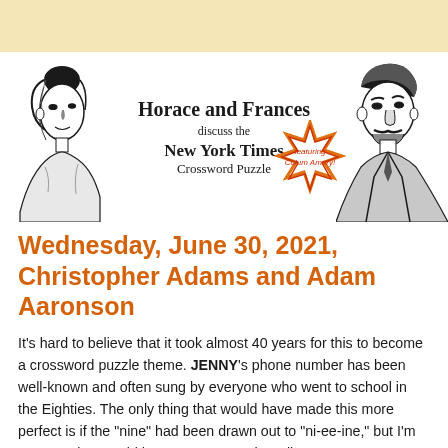[Figure (illustration): Banner illustration showing two vintage portrait sketches (a woman on the left, a man on the right) flanking centered text that reads 'Horace and Frances discuss the New York Times Crossword Puzzle' with a starburst badge saying 'featuring Colum Amory!']
Wednesday, June 30, 2021, Christopher Adams and Adam Aaronson
It's hard to believe that it took almost 40 years for this to become a crossword puzzle theme. JENNY's phone number has been well-known and often sung by everyone who went to school in the Eighties. The only thing that would have made this more perfect is if the "nine" had been drawn out to "ni-ee-ine," but I'm not sure that would have gotten past the editors.